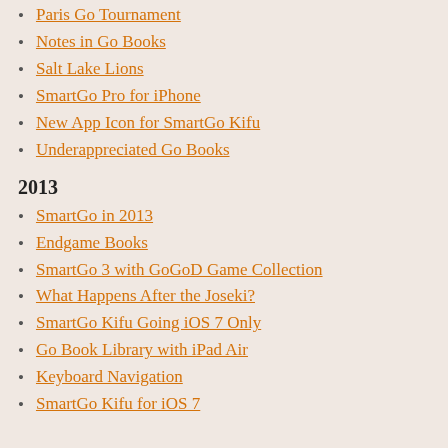Paris Go Tournament
Notes in Go Books
Salt Lake Lions
SmartGo Pro for iPhone
New App Icon for SmartGo Kifu
Underappreciated Go Books
2013
SmartGo in 2013
Endgame Books
SmartGo 3 with GoGoD Game Collection
What Happens After the Joseki?
SmartGo Kifu Going iOS 7 Only
Go Book Library with iPad Air
Keyboard Navigation
SmartGo Kifu for iOS 7